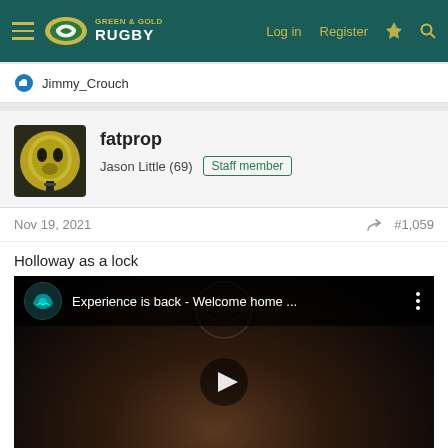Green & Gold Rugby — Log in  Register
Jimmy_Crouch
fatprop
Jason Little (69)  Staff member
Nov 19, 2021  #1,059
Holloway as a lock
[Figure (screenshot): YouTube video embed showing a man's face in dark background with video title 'Experience is back - Welcome home ...' and a play button overlay]